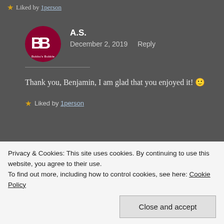★ Liked by 1person
A.S.
December 2, 2019   Reply
Thank you, Benjamin, I am glad that you enjoyed it! 🙂
★ Liked by 1person
Privacy & Cookies: This site uses cookies. By continuing to use this website, you agree to their use.
To find out more, including how to control cookies, see here: Cookie Policy